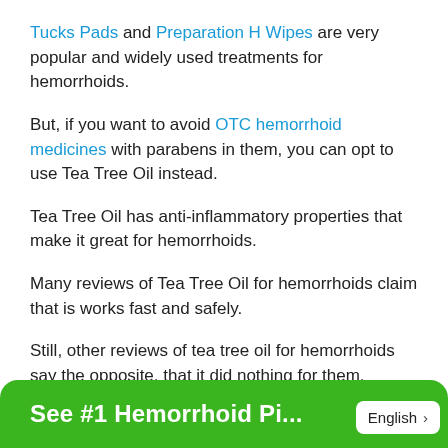Tucks Pads and Preparation H Wipes are very popular and widely used treatments for hemorrhoids.
But, if you want to avoid OTC hemorrhoid medicines with parabens in them, you can opt to use Tea Tree Oil instead.
Tea Tree Oil has anti-inflammatory properties that make it great for hemorrhoids.
Many reviews of Tea Tree Oil for hemorrhoids claim that is works fast and safely.
Still, other reviews of tea tree oil for hemorrhoids say the opposite, that it did nothing for them.
Does Tea Tree Oil Shrink
See #1 Hemorrhoid Pi...
English >